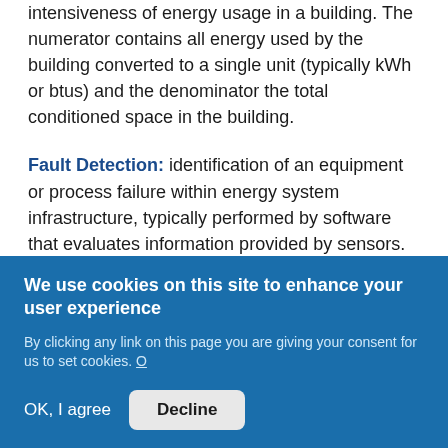intensiveness of energy usage in a building. The numerator contains all energy used by the building converted to a single unit (typically kWh or btus) and the denominator the total conditioned space in the building.
Fault Detection: identification of an equipment or process failure within energy system infrastructure, typically performed by software that evaluates information provided by sensors.
Feed-in tariff: government subsidy paid to generators of certain types of electricity (usually renewables), although it could in principle also
We use cookies on this site to enhance your user experience

By clicking any link on this page you are giving your consent for us to set cookies. O

OK, I agree   Decline